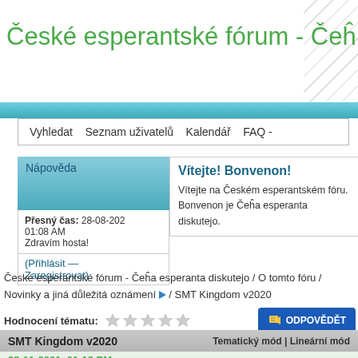České esperantské fórum - Čeĥa esperanta diskutejo
Vyhledat   Seznam uživatelů   Kalendář   FAQ -
Nápověda
Vítejte! Bonvenon!
Vítejte na Českém esperantském fóru. Bonvenon je Čeĥa esperanta diskutejo.
Přesný čas: 28-08-2022 01:08 AM
Zdravím hosta!
(Přihlásit — Zaregistrovat)
České esperantské fórum - Čeĥa esperanta diskutejo / O tomto fóru / Novinky a jiná důležitá oznámení ▼ / SMT Kingdom v2020
Hodnocení tématu:
[Figure (other): ODPOVĚDĚT button with arrow icon]
SMT Kingdom v2020   Tematický mód | Lineární mód
28-11-2021, 01:13 PM
dvdask2   Příspěvků: